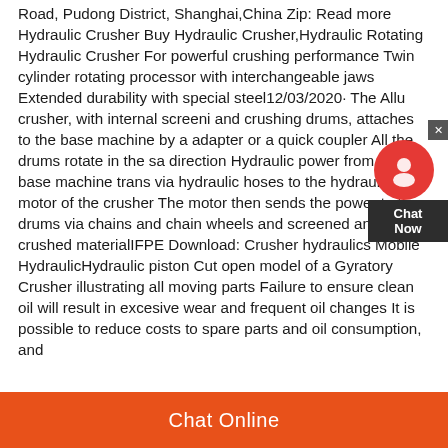Road, Pudong District, Shanghai,China Zip: Read more Hydraulic Crusher Buy Hydraulic Crusher,Hydraulic Rotating Hydraulic Crusher For powerful crushing performance Twin cylinder rotating processor with interchangeable jaws Extended durability with special steel12/03/2020· The Allu crusher, with internal screening and crushing drums, attaches to the base machine by an adapter or a quick coupler All the drums rotate in the same direction Hydraulic power from the base machine transfers via hydraulic hoses to the hydraulic motor of the crusher The motor then sends the power to the drums via chains and chain wheels and screened and crushed materialIFPE Download: Crusher hydraulics Mobile HydraulicHydraulic piston Cut open model of a Gyratory Crusher illustrating all moving parts Failure to ensure clean oil will result in excesive wear and frequent oil changes It is possible to reduce costs to spare parts and oil consumption, and
[Figure (other): Live chat widget with red circle icon showing chat agent silhouette, close button (X), and dark 'Chat Now' label box]
Chat Online